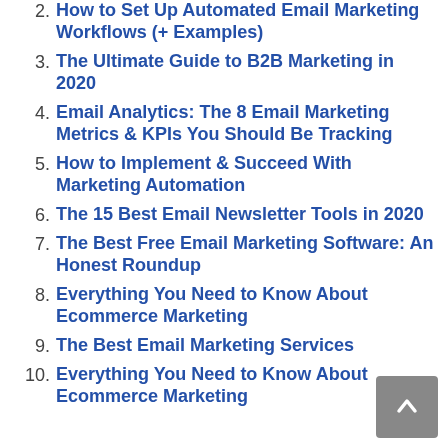2. How to Set Up Automated Email Marketing Workflows (+ Examples)
3. The Ultimate Guide to B2B Marketing in 2020
4. Email Analytics: The 8 Email Marketing Metrics & KPIs You Should Be Tracking
5. How to Implement & Succeed With Marketing Automation
6. The 15 Best Email Newsletter Tools in 2020
7. The Best Free Email Marketing Software: An Honest Roundup
8. Everything You Need to Know About Ecommerce Marketing
9. The Best Email Marketing Services
10. Everything You Need to Know About Ecommerce Marketing